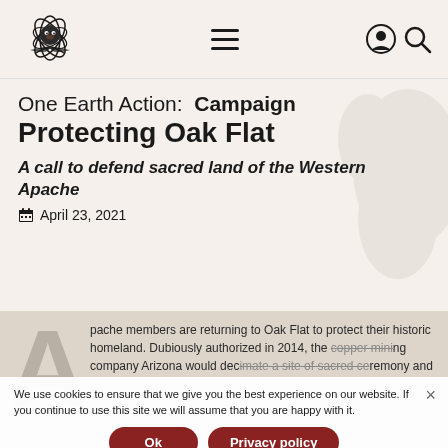[Figure (logo): One Earth organization logo — stylized lotus/leaf shape with an animal face in the center, black and white illustration]
Navigation bar with hamburger menu, account icon, and search icon
One Earth Action: Campaign Protecting Oak Flat
A call to defend sacred land of the Western Apache
April 23, 2021
Apache members are returning to Oak Flat to protect their historic homeland. Dubiously authorized in 2014, the copper mining company Arizona would decimate a site of sacred ceremony and the surrounding land. Apache...
We use cookies to ensure that we give you the best experience on our website. If you continue to use this site we will assume that you are happy with it.
Ok
Privacy policy